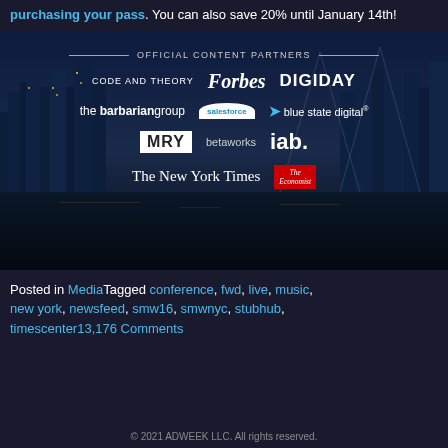purchasing your pass. You can also save 20% until January 14th!
[Figure (infographic): Official Content Partners banner with NYC skyline background, showing logos: Code and Theory, Forbes, Digiday, the barbarian group, salesforce, blue state digital, MRY, betaworks, iab., The New York Times, The Economist]
Posted in MediaTagged conference, fwd, live, music, new york, newsfeed, smw16, smwnyc, stubhub, timescenter13,176 Comments
© 2021 ADWEEK LLC. All rights reserved.